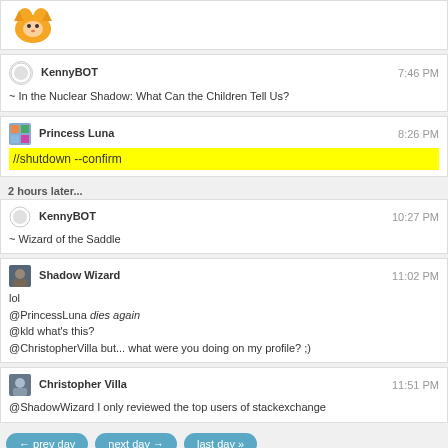[Figure (illustration): Orange cartoon icon/avatar in top block]
KennyBOT  7:46 PM
~ In the Nuclear Shadow: What Can the Children Tell Us?
Princess Luna  8:26 PM
//shutdown --confirm
2 hours later...
KennyBOT  10:27 PM
~ Wizard of the Saddle
Shadow Wizard  11:02 PM
lol
@PrincessLuna dies again
@kld what's this?
@ChristopherVilla but... what were you doing on my profile? ;)
Christopher Villa  11:51 PM
@ShadowWizard I only reviewed the top users of stackexchange
← prev day   next day →   last day »
join this room